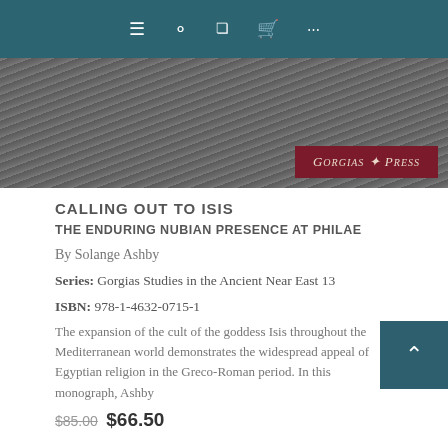Navigation bar with menu, search, notification, cart, and more icons
[Figure (photo): Book cover image with textured stone relief background and Gorgias Press logo badge in dark red at bottom right]
CALLING OUT TO ISIS
THE ENDURING NUBIAN PRESENCE AT PHILAE
By Solange Ashby
Series: Gorgias Studies in the Ancient Near East 13
ISBN: 978-1-4632-0715-1
The expansion of the cult of the goddess Isis throughout the Mediterranean world demonstrates the widespread appeal of Egyptian religion in the Greco-Roman period. In this monograph, Ashby
$85.00  $66.50